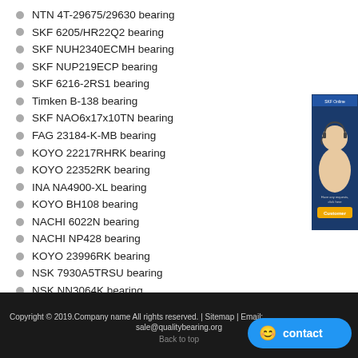NTN 4T-29675/29630 bearing
SKF 6205/HR22Q2 bearing
SKF NUH2340ECMH bearing
SKF NUP219ECP bearing
SKF 6216-2RS1 bearing
Timken B-138 bearing
SKF NAO6x17x10TN bearing
FAG 23184-K-MB bearing
KOYO 22217RHRK bearing
KOYO 22352RK bearing
INA NA4900-XL bearing
KOYO BH108 bearing
NACHI 6022N bearing
NACHI NP428 bearing
KOYO 23996RK bearing
NSK 7930A5TRSU bearing
NSK NN3064K bearing
[Figure (photo): Customer service representative with headset, with 'click here' button below]
Copyright © 2019.Company name All rights reserved. | Sitemap | Email: sale@qualitybearing.org
Back to top